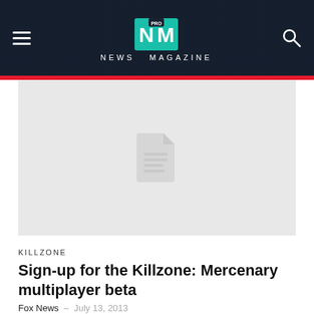NM PRO NEWS MAGAZINE
[Figure (illustration): Placeholder image area with a document icon in the center on a light gray background]
KILLZONE
Sign-up for the Killzone: Mercenary multiplayer beta
Fox News  —  July 13, 2013